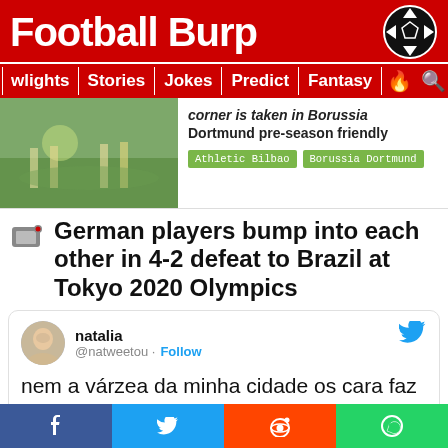Football Burp
wlights | Stories | Jokes | Predict | Fantasy
corner is taken in Borussia Dortmund pre-season friendly | Athletic Bilbao | Borussia Dortmund
German players bump into each other in 4-2 defeat to Brazil at Tokyo 2020 Olympics
natalia @natweetou · Follow
nem a várzea da minha cidade os cara faz isso
MKKKKKKKKKKKKKKKKKKKKKKKKKKKKKKKK
f | bird | reddit | whatsapp